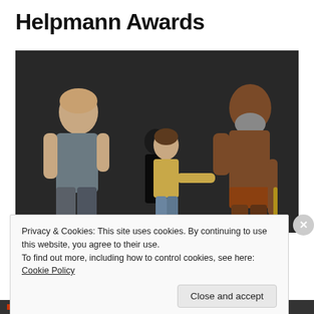Helpmann Awards
[Figure (photo): Theatre performance photo showing three actors on a dark stage: a man in a grey sleeveless shirt on the left, a young boy in a yellow shirt in the center reaching out, and a shirtless bearded older man on the right holding a stick. A fourth figure partially visible in the background.]
Privacy & Cookies: This site uses cookies. By continuing to use this website, you agree to their use.
To find out more, including how to control cookies, see here: Cookie Policy
Close and accept